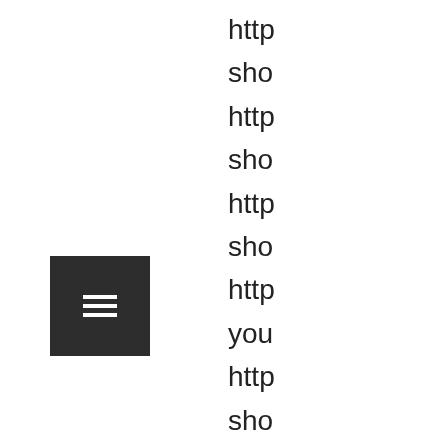[Figure (other): Dark square button with three horizontal white lines (hamburger/menu icon)]
http
sho
http
sho
http
sho
http
you
http
sho
http
sho
http
sho
http
sho